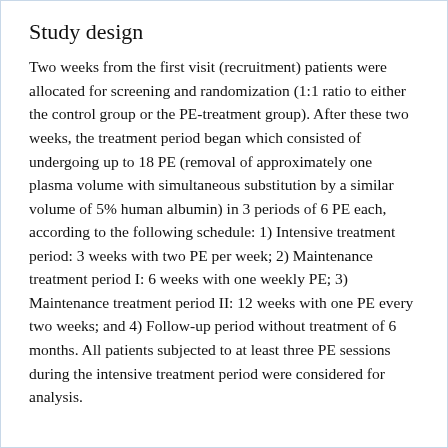Study design
Two weeks from the first visit (recruitment) patients were allocated for screening and randomization (1:1 ratio to either the control group or the PE-treatment group). After these two weeks, the treatment period began which consisted of undergoing up to 18 PE (removal of approximately one plasma volume with simultaneous substitution by a similar volume of 5% human albumin) in 3 periods of 6 PE each, according to the following schedule: 1) Intensive treatment period: 3 weeks with two PE per week; 2) Maintenance treatment period I: 6 weeks with one weekly PE; 3) Maintenance treatment period II: 12 weeks with one PE every two weeks; and 4) Follow-up period without treatment of 6 months. All patients subjected to at least three PE sessions during the intensive treatment period were considered for analysis.